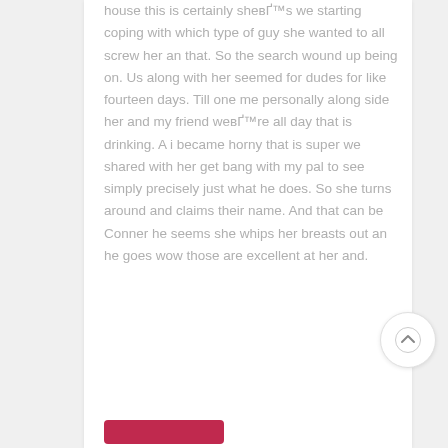house this is certainly sheвЂ™s we starting coping with which type of guy she wanted to all screw her an that. So the search wound up being on. Us along with her seemed for dudes for like fourteen days. Till one me personally along side her and my friend weвЂ™re all day that is drinking. A i became horny that is super we shared with her get bang with my pal to see simply precisely just what he does. So she turns around and claims their name. And that can be Conner he seems she whips her breasts out an he goes wow those are excellent at her and.
[Figure (other): A circular scroll-to-top button with an upward arrow icon]